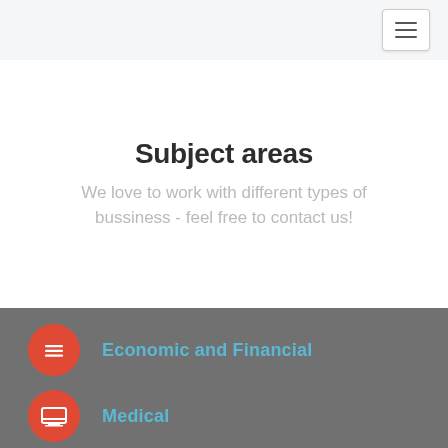Navigation bar with hamburger menu
Subject areas
We love to work with different types of bussiness - feel free to contact us!
Economic and Financial
Medical
(partially visible third item)